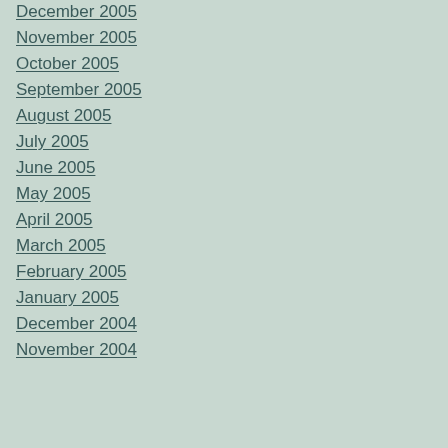December 2005
November 2005
October 2005
September 2005
August 2005
July 2005
June 2005
May 2005
April 2005
March 2005
February 2005
January 2005
December 2004
November 2004